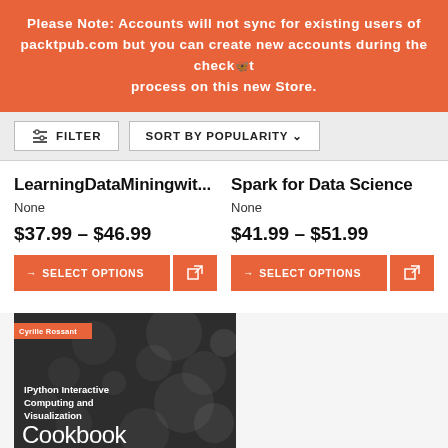Please Note: Accounts will not sync for existing users of packtpub.com but you can create new accounts during the checkout process on this new Store.
FILTER   SORT BY POPULARITY
LearningDataMiningwit...
None
$37.99 – $46.99
→ SELECT OPTIONS
Spark for Data Science
None
$41.99 – $51.99
→ SELECT OPTIONS
[Figure (illustration): Book cover: IPython Interactive Computing and Visualization Cookbook, Second Edition by Cyrille Rossant. Dark background with bokeh circles, orange author tag.]